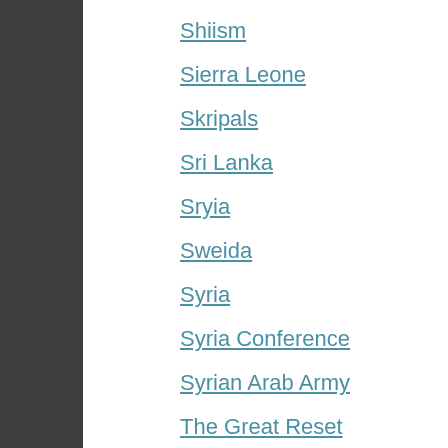Shiism
Sierra Leone
Skripals
Sri Lanka
Sryia
Sweida
Syria
Syria Conference
Syrian Arab Army
The Great Reset
Trade Unions
Tulsi Gabbard
Tunisia
Turkey
Twitter
UAE